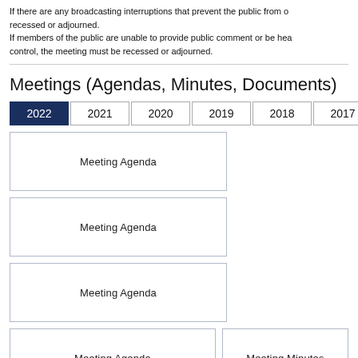If there are any broadcasting interruptions that prevent the public from observing the meeting, the meeting must be recessed or adjourned.
If members of the public are unable to provide public comment or be heard due to technical difficulties beyond the body's control, the meeting must be recessed or adjourned.
Meetings (Agendas, Minutes, Documents)
2022
2021
2020
2019
2018
2017
2016
2015
201…
Meeting Agenda
Meeting Agenda
Meeting Agenda
Meeting Agenda
Meeting Minutes